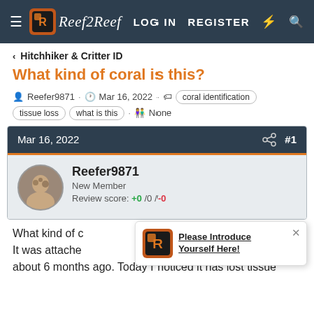Reef2Reef — LOG IN   REGISTER
< Hitchhiker & Critter ID
What kind of coral is this?
Reefer9871 · Mar 16, 2022 · coral identification  tissue loss  what is this · None
Mar 16, 2022  #1
Reefer9871
New Member
Review score: +0 /0 /-0
What kind of coral is this? The coral is dark purple co... It was attached... about 6 months ago. Today I noticed it has lost tissue
Please Introduce Yourself Here!